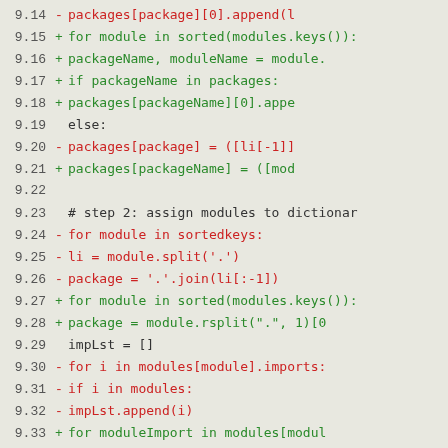Code diff showing changes to module/package processing logic, lines 9.14 through 9.33+